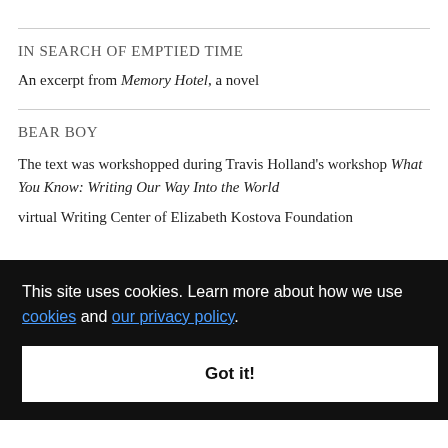IN SEARCH OF EMPTIED TIME
An excerpt from Memory Hotel, a novel
BEAR BOY
The text was workshopped during Travis Holland's workshop What You Know: Writing Our Way Into the World
virtual Writing Center of Elizabeth Kostova Foundation
[Figure (other): Cookie consent banner overlay with black background. Text: 'This site uses cookies. Learn more about how we use cookies and our privacy policy.' with a 'Got it!' button.]